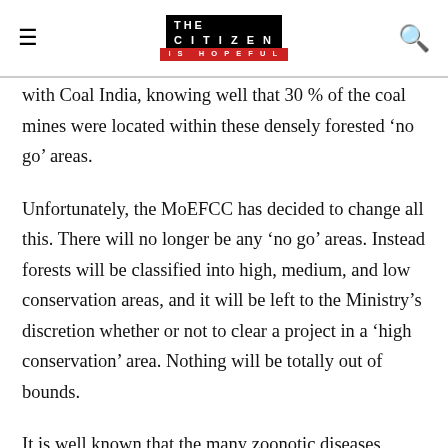THE CITIZEN IS HOPEFUL
with Coal India, knowing well that 30 % of the coal mines were located within these densely forested ‘no go’ areas.
Unfortunately, the MoEFCC has decided to change all this. There will no longer be any ‘no go’ areas. Instead forests will be classified into high, medium, and low conservation areas, and it will be left to the Ministry’s discretion whether or not to clear a project in a ‘high conservation’ area. Nothing will be totally out of bounds.
It is well known that the many zoonotic diseases which have created pandemics in the world and posed a serious